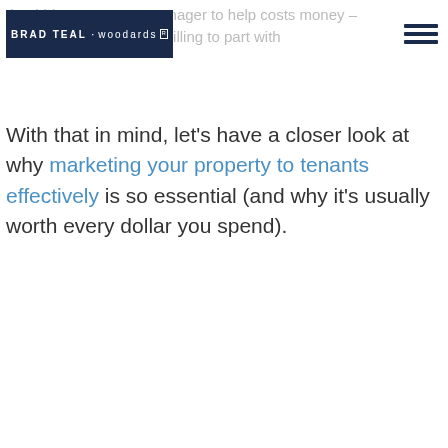BRAD TEAL · woodards [logo]
that hiring a property manager to help costs money – investors aren't usually willing to part with
With that in mind, let's have a closer look at why marketing your property to tenants effectively is so essential (and why it's usually worth every dollar you spend).